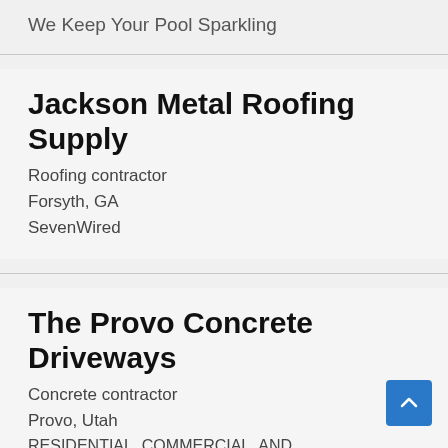We Keep Your Pool Sparkling
Jackson Metal Roofing Supply
Roofing contractor
Forsyth, GA
SevenWired
The Provo Concrete Driveways
Concrete contractor
Provo, Utah
RESIDENTIAL, COMMERCIAL, AND INDUSTRIAL CONCRETE IN UTAH